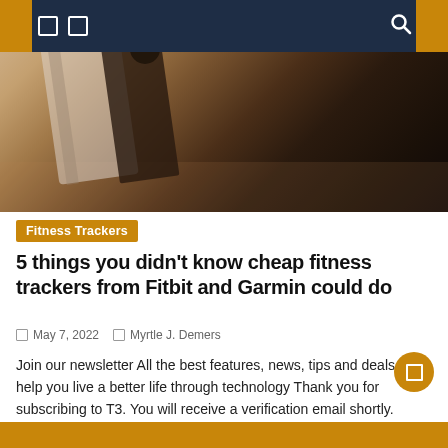[Figure (photo): Person holding a surfboard, wearing a black wetsuit and a smartwatch, photographed from behind at a beach]
Fitness Trackers
5 things you didn't know cheap fitness trackers from Fitbit and Garmin could do
May 7, 2022   Myrtle J. Demers
Join our newsletter All the best features, news, tips and deals to help you live a better life through technology Thank you for subscribing to T3. You will receive a verification email shortly. There was a problem. Please refresh the page and try again. By submitting your information, you agree to the terms and conditions [...]